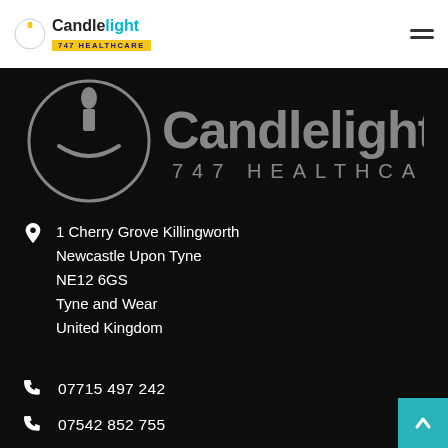[Figure (logo): Candlelight 747 Healthcare logo in nav bar - white background with candle/hand icon, text 'Candlelight' in dark and teal, yellow badge '747 HEALTHCARE']
[Figure (logo): Large Candlelight 747 Healthcare logo on dark background - circular candle icon, text 'Candlelight' large white, '747 HEALTHCARE' in spaced capitals]
1 Cherry Grove Killingworth
Newcastle Upon Tyne
NE12 6GS
Tyne and Wear
United Kingdom
07715 497 242
07542 852 755
Open Hours:
Mon – Sun: Open 24hrs,